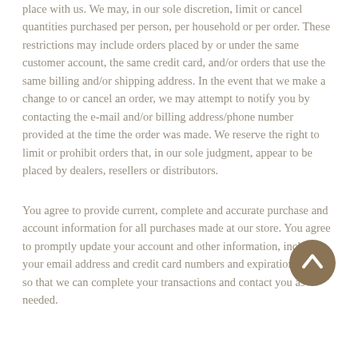place with us. We may, in our sole discretion, limit or cancel quantities purchased per person, per household or per order. These restrictions may include orders placed by or under the same customer account, the same credit card, and/or orders that use the same billing and/or shipping address. In the event that we make a change to or cancel an order, we may attempt to notify you by contacting the e-mail and/or billing address/phone number provided at the time the order was made. We reserve the right to limit or prohibit orders that, in our sole judgment, appear to be placed by dealers, resellers or distributors.
You agree to provide current, complete and accurate purchase and account information for all purchases made at our store. You agree to promptly update your account and other information, including your email address and credit card numbers and expiration dates, so that we can complete your transactions and contact you as needed.
[Figure (other): Scroll-to-top button: circular brown/tan button with upward-pointing chevron arrow]